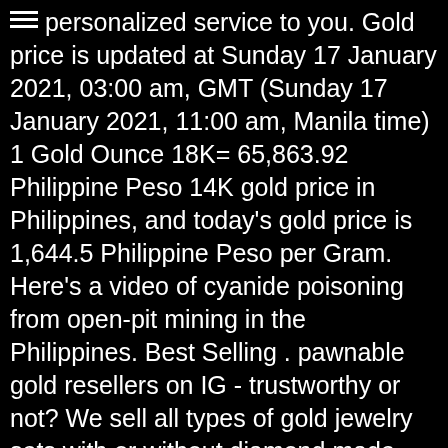personalized service to you. Gold price is updated at Sunday 17 January 2021, 03:00 am, GMT (Sunday 17 January 2021, 11:00 am, Manila time) 1 Gold Ounce 18K= 65,863.92 Philippine Peso 14K gold price in Philippines, and today's gold price is 1,644.5 Philippine Peso per Gram. Here's a video of cyanide poisoning from open-pit mining in the Philippines. Best Selling . pawnable gold resellers on IG - trustworthy or not? We sell all types of gold jewelry sets with or without diamond made from 14K, 18K, and 21K gold. Some ore milling operations result in tailings ponds. Get the best Jewellery price in the Philippines | Shop Jewellery with our discounts & offers. This page is specifically about the 14 Karat gold, which is 58.33% pure and known (or stamped) as 585 gold. You can manage them any time by clicking on the notification icon. With copper reserves estimated at between 13.9 to 15 million MT and gold